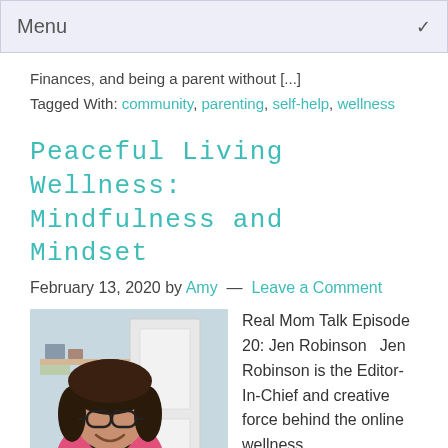Menu
Finances, and being a parent without [...]
Tagged With: community, parenting, self-help, wellness
Peaceful Living Wellness: Mindfulness and Mindset
February 13, 2020 by Amy — Leave a Comment
[Figure (photo): Woman with glasses and dark hair, wearing a pink top and black scarf, smiling in front of a white door interior background.]
Real Mom Talk Episode 20: Jen Robinson  Jen Robinson is the Editor-In-Chief and creative force behind the online wellness magazine Peaceful Living Wellness.  The magazine is dedicated to inspiring people to lead lives of
dedicated to inspiring people to lead lives of